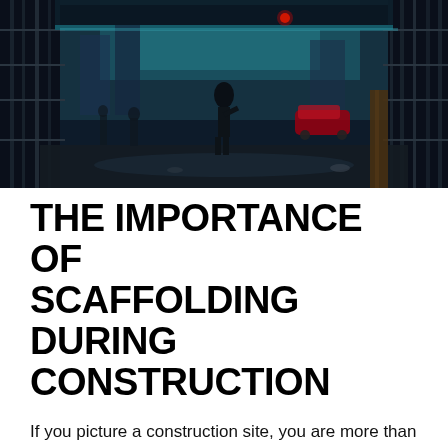[Figure (photo): Dark urban alleyway scene with a person silhouetted against a city street. Metal scaffolding/grid structures frame both sides of the alley. A red car is visible in the background. Neon and natural light creates a dramatic blue/teal tint.]
THE IMPORTANCE OF SCAFFOLDING DURING CONSTRUCTION
If you picture a construction site, you are more than likely going to conjure up an image of a half-finished building with a number of workers navigating themselves around a tall, steel structure. This structure, commonly known as scaffolding, is one of the most familiar aspects of any